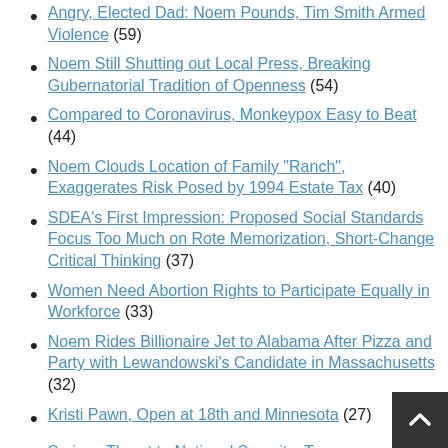Angry, Elected Dad: Noem Pounds, Tim Smith Armed Violence (59)
Noem Still Shutting out Local Press, Breaking Gubernatorial Tradition of Openness (54)
Compared to Coronavirus, Monkeypox Easy to Beat (44)
Noem Clouds Location of Family "Ranch", Exaggerates Risk Posed by 1994 Estate Tax (40)
SDEA's First Impression: Proposed Social Standards Focus Too Much on Rote Memorization, Short-Change Critical Thinking (37)
Women Need Abortion Rights to Participate Equally in Workforce (33)
Noem Rides Billionaire Jet to Alabama After Pizza and Party with Lewandowski's Candidate in Massachusetts (32)
Kristi Pawn, Open at 18th and Minnesota (27)
Serious Threat to National Security: Trump...